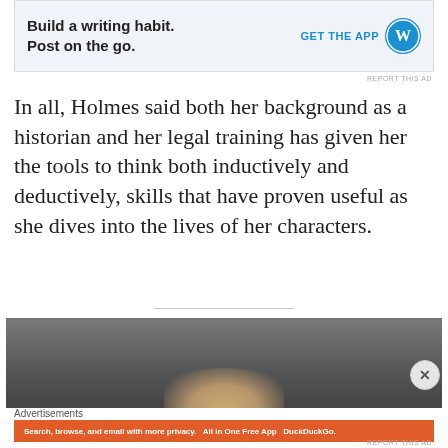[Figure (screenshot): WordPress app advertisement banner: 'Build a writing habit. Post on the go.' with GET THE APP button and WordPress logo]
REPORT THIS AD
In all, Holmes said both her background as a historian and her legal training has given her the tools to think both inductively and deductively, skills that have proven useful as she dives into the lives of her characters.
[Figure (photo): Partial photo showing the top of a person's head with blonde hair against a dark gray background]
Advertisements
[Figure (screenshot): DuckDuckGo advertisement: 'Search, browse, and email with more privacy. All in One Free App' with DuckDuckGo logo on phone]
REPORT THIS AD